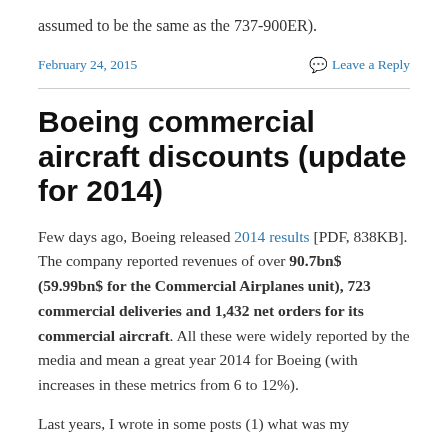assumed to be the same as the 737-900ER).
February 24, 2015    Leave a Reply
Boeing commercial aircraft discounts (update for 2014)
Few days ago, Boeing released 2014 results [PDF, 838KB]. The company reported revenues of over 90.7bn$ (59.99bn$ for the Commercial Airplanes unit), 723 commercial deliveries and 1,432 net orders for its commercial aircraft. All these were widely reported by the media and mean a great year 2014 for Boeing (with increases in these metrics from 6 to 12%).
Last years, I wrote in some posts (1) what was my